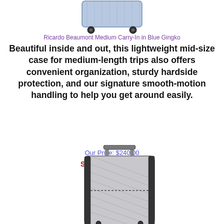[Figure (photo): Top portion of a Ricardo Beaumont suitcase in Blue Gingko pattern, showing the bottom wheels and lower body of the luggage]
Ricardo Beaumont Medium Carry-In in Blue Gingko
Beautiful inside and out, this lightweight mid-size case for medium-length trips also offers convenient organization, sturdy hardside protection, and our signature smooth-motion handling to help you get around easily.
Our Price: $240.00
Sale Price: $119.99
Savings: $120.01
[Figure (photo): A silver/grey hard-shell carry-on suitcase with diagonal ribbed texture, extended handle, and spinner wheels]
[Figure (photo): Small shipping truck icon]